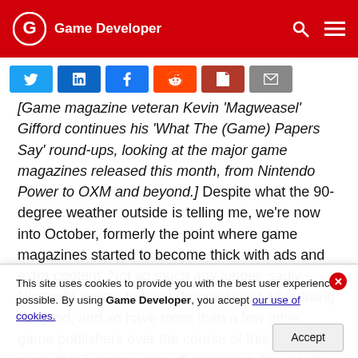Game Developer
[Figure (infographic): Social share buttons: Twitter, LinkedIn, Facebook, Reddit, PDF, Email]
[Game magazine veteran Kevin 'Magweasel' Gifford continues his 'What The (Game) Papers Say' round-ups, looking at the major game magazines released this month, from Nintendo Power to OXM and beyond.] Despite what the 90-degree weather outside is telling me, we're now into October, formerly the point where game magazines started to become thick with ads and extra content. Not so much any longer, sadly -- Nintendo seems to have dropped print advertising for good, and so have more than a few other game publishers over the course of this year. Still, given that I cover a one-off magazine this month with 258 pages of content, things can't be all that terrible, can they? The new-look Game Informer has not gone extinct, although
This site uses cookies to provide you with the best user experience possible. By using Game Developer, you accept our use of cookies.